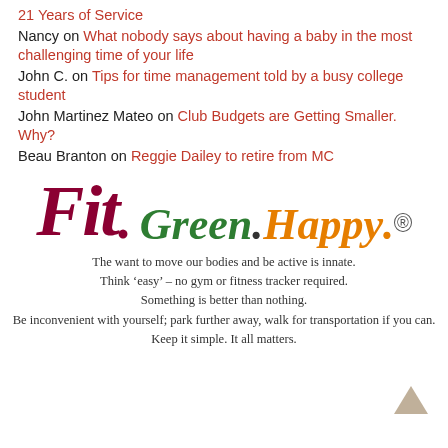21 Years of Service
Nancy on What nobody says about having a baby in the most challenging time of your life
John C. on Tips for time management told by a busy college student
John Martinez Mateo on Club Budgets are Getting Smaller. Why?
Beau Branton on Reggie Dailey to retire from MC
[Figure (logo): Fit. Green. Happy. registered trademark logo in stylized italic script. 'Fit.' in dark maroon, 'Green.' in dark green, 'Happy.' in orange, with registered trademark symbol.]
The want to move our bodies and be active is innate. Think ‘easy’ – no gym or fitness tracker required. Something is better than nothing. Be inconvenient with yourself; park further away, walk for transportation if you can. Keep it simple. It all matters.